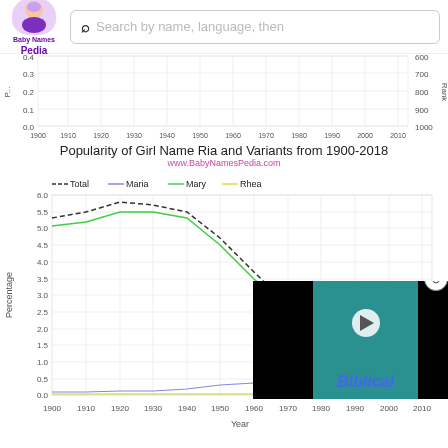[Figure (logo): BabyNamesPedia logo with baby illustration and purple text]
[Figure (screenshot): Search bar with magnifying glass icon and placeholder text: Search by name, language, then]
[Figure (line-chart): Top portion of a name popularity chart showing y-axis 0.0-0.4 (Percentage) and right y-axis 600-1000 (Rank), x-axis 1900-2010+]
Popularity of Girl Name Ria and Variants from 1900-2018
www.BabyNamesPedia.com
[Figure (line-chart): Popularity of Girl Name Ria and Variants from 1900-2018]
[Figure (screenshot): Video overlay showing partially visible Biblical video thumbnail with play button, overlaid on the lower right of the line chart]